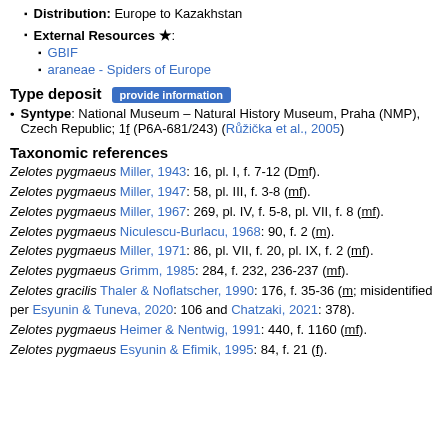Distribution: Europe to Kazakhstan
External Resources *:
GBIF
araneae - Spiders of Europe
Type deposit
Syntype: National Museum – Natural History Museum, Praha (NMP), Czech Republic; 1f (P6A-681/243) (Růžička et al., 2005)
Taxonomic references
Zelotes pygmaeus Miller, 1943: 16, pl. I, f. 7-12 (Dmf).
Zelotes pygmaeus Miller, 1947: 58, pl. III, f. 3-8 (mf).
Zelotes pygmaeus Miller, 1967: 269, pl. IV, f. 5-8, pl. VII, f. 8 (mf).
Zelotes pygmaeus Niculescu-Burlacu, 1968: 90, f. 2 (m).
Zelotes pygmaeus Miller, 1971: 86, pl. VII, f. 20, pl. IX, f. 2 (mf).
Zelotes pygmaeus Grimm, 1985: 284, f. 232, 236-237 (mf).
Zelotes gracilis Thaler & Noflatscher, 1990: 176, f. 35-36 (m; misidentified per Esyunin & Tuneva, 2020: 106 and Chatzaki, 2021: 378).
Zelotes pygmaeus Heimer & Nentwig, 1991: 440, f. 1160 (mf).
Zelotes pygmaeus Esyunin & Efimik, 1995: 84, f. 21 (f).